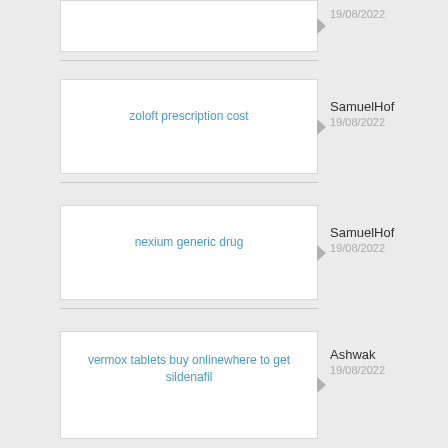19/08/2022
zoloft prescription cost
SamuelHof
19/08/2022
nexium generic drug
SamuelHof
19/08/2022
vermox tablets buy onlinewhere to get sildenafil
Ashwak
19/08/2022